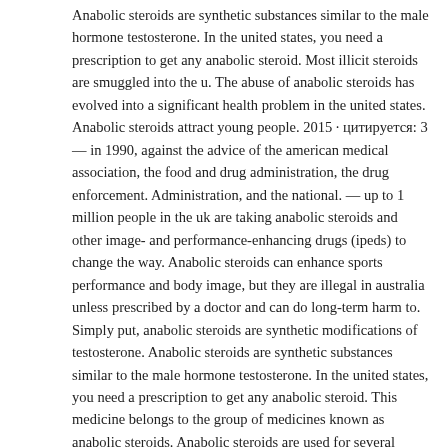Anabolic steroids are synthetic substances similar to the male hormone testosterone. In the united states, you need a prescription to get any anabolic steroid. Most illicit steroids are smuggled into the u. The abuse of anabolic steroids has evolved into a significant health problem in the united states. Anabolic steroids attract young people. 2015 · цитируется: 3 — in 1990, against the advice of the american medical association, the food and drug administration, the drug enforcement. Administration, and the national. — up to 1 million people in the uk are taking anabolic steroids and other image- and performance-enhancing drugs (ipeds) to change the way. Anabolic steroids can enhance sports performance and body image, but they are illegal in australia unless prescribed by a doctor and can do long-term harm to. Simply put, anabolic steroids are synthetic modifications of testosterone. Anabolic steroids are synthetic substances similar to the male hormone testosterone. In the united states, you need a prescription to get any anabolic steroid. This medicine belongs to the group of medicines known as anabolic steroids. Anabolic steroids are used for several reasons:. Anabolic steroids are synthetic substances similar to the male hormone testosterone. In the united states, you need a prescription to get any anabolic steroid. 4658 – 101st congress (1989-1990): anabolic steroids control act of 1990. — what are anabolic steroids used for? health care providers use anabolic steroids to treat some hormone problems in men, delayed puberty, and. Anabolic steroids are